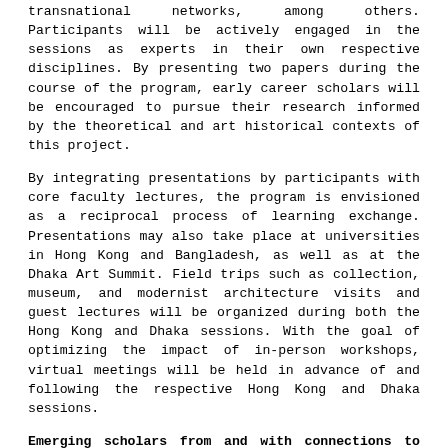transnational networks, among others. Participants will be actively engaged in the sessions as experts in their own respective disciplines. By presenting two papers during the course of the program, early career scholars will be encouraged to pursue their research informed by the theoretical and art historical contexts of this project.
By integrating presentations by participants with core faculty lectures, the program is envisioned as a reciprocal process of learning exchange. Presentations may also take place at universities in Hong Kong and Bangladesh, as well as at the Dhaka Art Summit. Field trips such as collection, museum, and modernist architecture visits and guest lectures will be organized during both the Hong Kong and Dhaka sessions. With the goal of optimizing the impact of in-person workshops, virtual meetings will be held in advance of and following the respective Hong Kong and Dhaka sessions.
Emerging scholars from and with connections to Africa, South Asia, and Southeast Asia currently enrolled in a graduate program in Art History, Architectural History, or Cultural Studies, or who have finished their graduate training in these fields during the last three years are encouraged to apply.
Travel and accommodation expenses will be fully covered. Participants must commit to attending both the Hong Kong and Dhaka sessions for the full duration; Hong Kong from August 11-22,